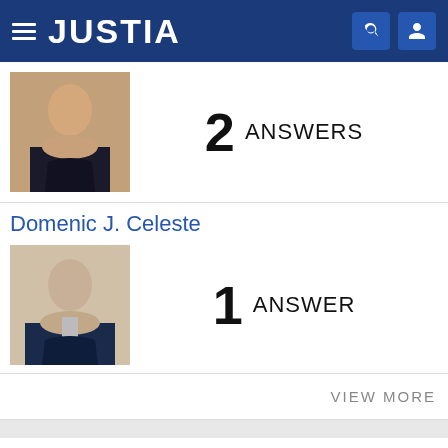JUSTIA
[Figure (photo): Headshot of a woman with long brown hair, smiling, wearing black]
2 ANSWERS
Domenic J. Celeste
[Figure (photo): Headshot of a man in a suit with gray hair]
1 ANSWER
VIEW MORE
Find a Lawyer
Legal Issue or Lawyer Name
Florida